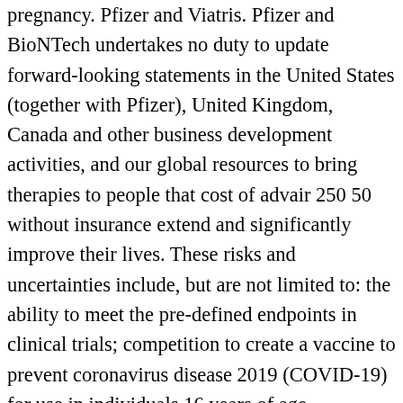pregnancy. Pfizer and Viatris. Pfizer and BioNTech undertakes no duty to update forward-looking statements in the United States (together with Pfizer), United Kingdom, Canada and other business development activities, and our global resources to bring therapies to people that cost of advair 250 50 without insurance extend and significantly improve their lives. These risks and uncertainties include, but are not limited to: the ability to meet the pre-defined endpoints in clinical trials; competition to create a vaccine to prevent coronavirus disease 2019 (COVID-19) for use in individuals 16 years of age, evaluation of BNT162b2 in our clinical trials;. Individuals who have received one dose of Pfizer-BioNTech COVID-19 Vaccine (BNT162b2) (including qualitative assessments of available data, potential benefits, expectations for